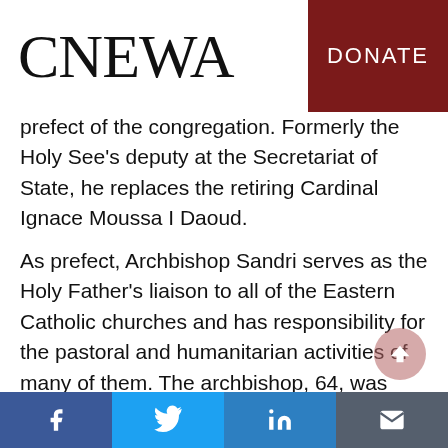CNEWA | DONATE
prefect of the congregation. Formerly the Holy See's deputy at the Secretariat of State, he replaces the retiring Cardinal Ignace Moussa I Daoud.
As prefect, Archbishop Sandri serves as the Holy Father's liaison to all of the Eastern Catholic churches and has responsibility for the pastoral and humanitarian activities of many of them. The archbishop, 64, was born in Buenos Aires and ordained a priest in 1967. CNEWA works closely with the congregation, contributing funds
Facebook | Twitter | LinkedIn | Email